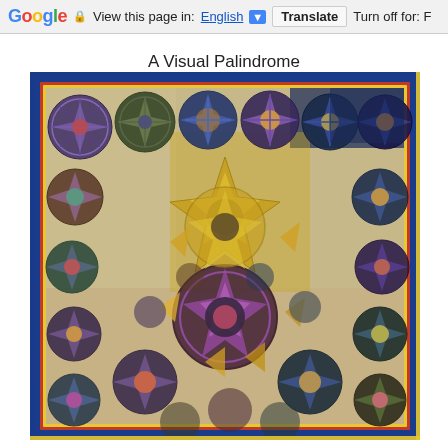Google | View this page in: English [▼] | Translate | Turn off for: F
A Visual Palindrome
[Figure (photo): A colorful geometric patchwork quilt with intricate star and medallion patterns in jewel tones including gold, blue, red, purple, and green. The quilt features kaleidoscopic circular motifs and eight-pointed stars arranged in a repeating pattern, with a blue and red border.]